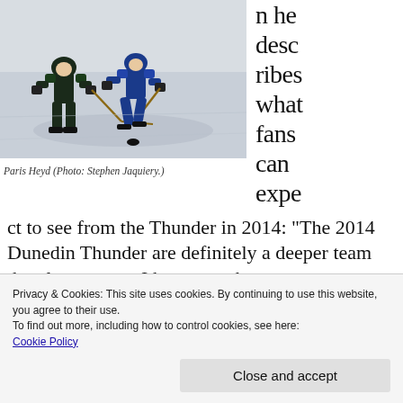[Figure (photo): Two ice hockey players in action on the ice, one in a dark jersey and one in a blue jersey, competing for the puck.]
Paris Heyd (Photo: Stephen Jaquiery.)
n he describes what fans can expect to see from the Thunder in 2014: “The 2014 Dunedin Thunder are definitely a deeper team than last season. I hate to make guarantees as such because you have zero control on other
Privacy & Cookies: This site uses cookies. By continuing to use this website, you agree to their use.
To find out more, including how to control cookies, see here:
Cookie Policy
Close and accept